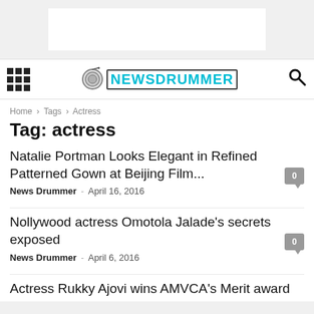[Figure (other): Advertisement banner (white rectangle on grey background)]
NEWSDRUMMER - navigation header with hamburger menu, logo, and search icon
Home › Tags › Actress
Tag: actress
Natalie Portman Looks Elegant in Refined Patterned Gown at Beijing Film...
News Drummer - April 16, 2016
Nollywood actress Omotola Jalade's secrets exposed
News Drummer - April 6, 2016
Actress Rukky Ajovi wins AMVCA's Merit award